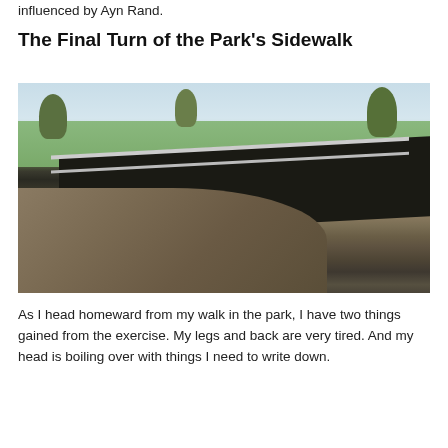influenced by Ayn Rand.
The Final Turn of the Park’s Sidewalk
[Figure (photo): Photograph of a park sidewalk making a final curve, with a dark water channel or drainage ditch alongside a stone-paved path, metal fencing separating the path from the water, green grass fields and trees visible in the background under a partly cloudy sky.]
As I head homeward from my walk in the park, I have two things gained from the exercise. My legs and back are very tired. And my head is boiling over with things I need to write down.